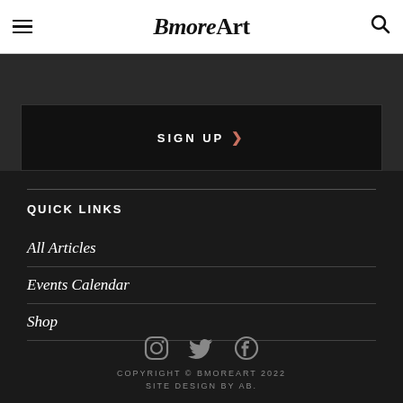BmoreArt
SIGN UP
QUICK LINKS
All Articles
Events Calendar
Shop
[Figure (other): Social media icons: Instagram, Twitter, Facebook]
COPYRIGHT © BMOREART 2022
SITE DESIGN BY AB.